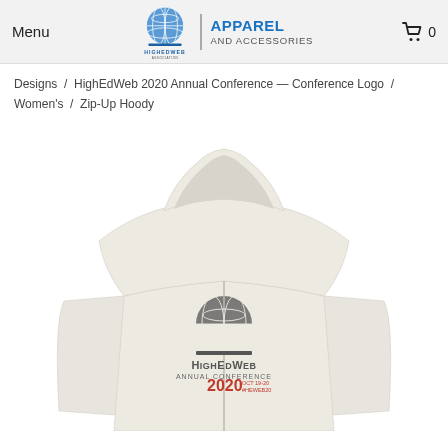Menu | APPAREL AND ACCESSORIES | 🛒 0
Designs / HighEdWeb 2020 Annual Conference — Conference Logo / Women's / Zip-Up Hoody
[Figure (photo): Back view of a white zip-up hoody on a model, showing the HighEdWeb Annual Conference 2020 logo printed on the back. The logo features a grey globe graphic, bold 'HighEdWeb' text, 'Annual Conference' below it, '2020' in red, and 'OCT 19-20 #HEWEB20' in smaller red text.]